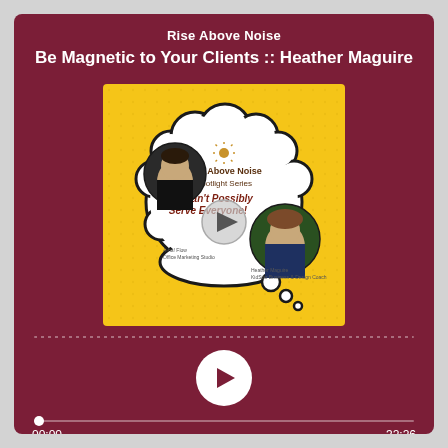Rise Above Noise
Be Magnetic to Your Clients :: Heather Maguire
[Figure (screenshot): Podcast album art on yellow background showing a thought-bubble speech cloud with two female portraits, text reading 'Rise Above Noise Spotlight Series You Can't Possibly Serve Everyone!' with a play button overlay in the center.]
00:00
-32:26